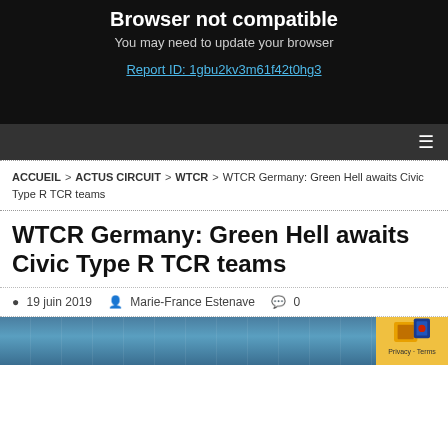Browser not compatible
You may need to update your browser
Report ID: 1gbu2kv3m61f42t0hg3
≡
ACCUEIL > ACTUS CIRCUIT > WTCR > WTCR Germany: Green Hell awaits Civic Type R TCR teams
WTCR Germany: Green Hell awaits Civic Type R TCR teams
19 juin 2019  Marie-France Estenave  0
[Figure (photo): Partial view of a motorsport/racing scene, appears to show circuit or car]